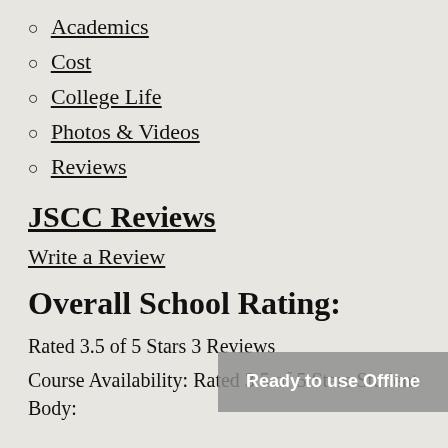Academics
Cost
College Life
Photos & Videos
Reviews
JSCC Reviews
Write a Review
Overall School Rating:
Rated 3.5 of 5 Stars 3 Reviews
Course Availability: Rated 3.5 of 5 Stars Student Body:
[Figure (other): Gray overlay banner reading 'Ready to use Offline']